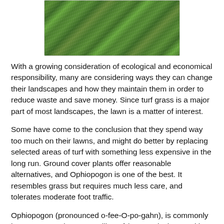[Figure (photo): Close-up photograph of green turf grass from above]
With a growing consideration of ecological and economical responsibility, many are considering ways they can change their landscapes and how they maintain them in order to reduce waste and save money. Since turf grass is a major part of most landscapes, the lawn is a matter of interest.
Some have come to the conclusion that they spend way too much on their lawns, and might do better by replacing selected areas of turf with something less expensive in the long run. Ground cover plants offer reasonable alternatives, and Ophiopogon is one of the best. It resembles grass but requires much less care, and tolerates moderate foot traffic.
Ophiopogon (pronounced o-fee-O-po-gahn), is commonly known as mondo grass or lily-turf (a name it shares with Liriope). The botanical name comes from the Greek meaning "snake beard." I have no explanation why it was so named. Perhaps a plant explorer saw a snake laying in it and